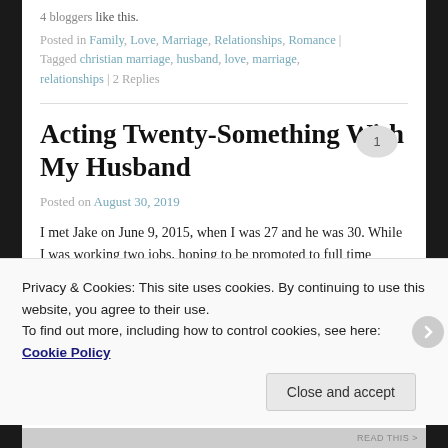4 bloggers like this.
Posted in Family, Love, Marriage, Relationships, Romance | Tagged christian marriage, husband, love, marriage, relationships | 2 Replies
Acting Twenty-Something With My Husband
Posted on August 30, 2019
I met Jake on June 9, 2015, when I was 27 and he was 30. While I was working two jobs, hoping to be promoted to full time librarian, Jake was working in oil, not entirely
Privacy & Cookies: This site uses cookies. By continuing to use this website, you agree to their use.
To find out more, including how to control cookies, see here: Cookie Policy